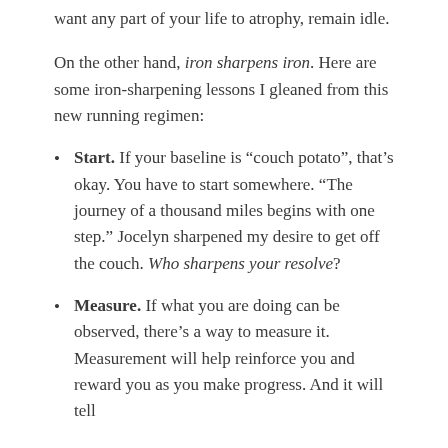want any part of your life to atrophy, remain idle.
On the other hand, iron sharpens iron. Here are some iron-sharpening lessons I gleaned from this new running regimen:
Start. If your baseline is “couch potato”, that’s okay. You have to start somewhere. “The journey of a thousand miles begins with one step.” Jocelyn sharpened my desire to get off the couch. Who sharpens your resolve?
Measure. If what you are doing can be observed, there’s a way to measure it. Measurement will help reinforce you and reward you as you make progress. And it will tell